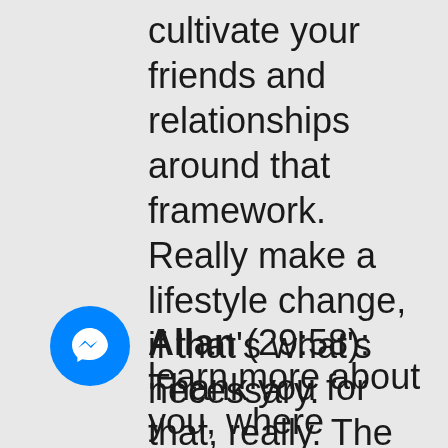cultivate your friends and relationships around that framework. Really make a lifestyle change, if that's what's necessary.
Allan (29:58): Thank you for that, really. The book is Better Balance for Life. Carol, if someone wanted to learn more about the book, learn more about you, where